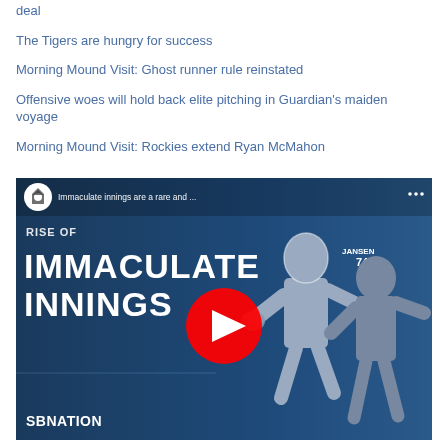deal
The Tigers are hungry for success
Morning Mound Visit: Ghost runner rule reinstated
Offensive woes will hold back elite pitching in Guardian's maiden voyage
Morning Mound Visit: Rockies extend Ryan McMahon
[Figure (screenshot): YouTube video thumbnail showing 'Rise of Immaculate Innings' with baseball players, SBNation branding, and a red YouTube play button. Title bar reads 'Immaculate innings are a rare and ...']